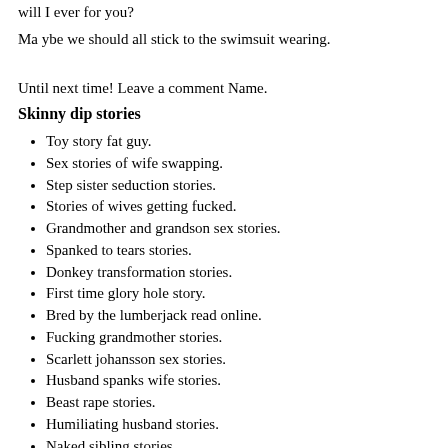will I ever for you?
Ma ybe we should all stick to the swimsuit wearing.
Until next time! Leave a comment Name.
Skinny dip stories
Toy story fat guy.
Sex stories of wife swapping.
Step sister seduction stories.
Stories of wives getting fucked.
Grandmother and grandson sex stories.
Spanked to tears stories.
Donkey transformation stories.
First time glory hole story.
Bred by the lumberjack read online.
Fucking grandmother stories.
Scarlett johansson sex stories.
Husband spanks wife stories.
Beast rape stories.
Humiliating husband stories.
Naked sibling stories.
Kristen first time sex stories.